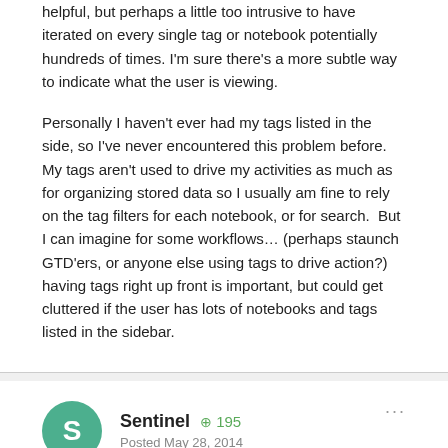helpful, but perhaps a little too intrusive to have iterated on every single tag or notebook potentially hundreds of times. I'm sure there's a more subtle way to indicate what the user is viewing.
Personally I haven't ever had my tags listed in the side, so I've never encountered this problem before. My tags aren't used to drive my activities as much as for organizing stored data so I usually am fine to rely on the tag filters for each notebook, or for search.  But I can imagine for some workflows… (perhaps staunch GTD'ers, or anyone else using tags to drive action?) having tags right up front is important, but could get cluttered if the user has lots of notebooks and tags listed in the sidebar.
Sentinel  ⊕ 195
Posted May 28, 2014
I do the same as Scott.  If I know what Notebook my data is in, I open that Notebook and do a search within it.  I find that very quick.
I don't have Notebooks nor Tags opened in my left sidebar.  However, all